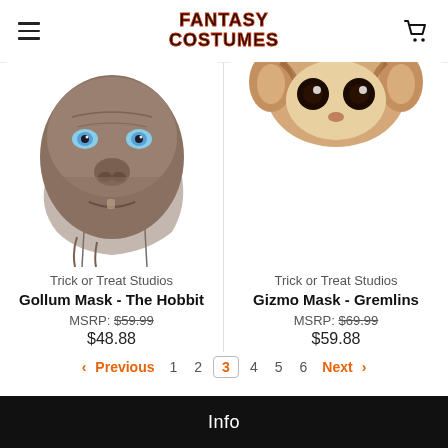Fantasy Costumes
[Figure (photo): Gollum character mask from The Hobbit - realistic gray skin creature face with blue eyes]
Trick or Treat Studios
Gollum Mask - The Hobbit
MSRP: $59.99
$48.88
[Figure (photo): Gizmo character mask from Gremlins - partially visible furry creature face]
Trick or Treat Studios
Gizmo Mask - Gremlins
MSRP: $69.99
$59.88
Previous 1 2 3 4 5 6 Next
Info